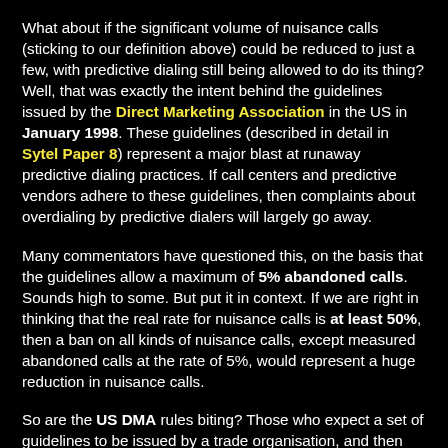What about if the significant volume of nuisance calls (sticking to our definition above) could be reduced to just a few, with predictive dialing still being allowed to do its thing? Well, that was exactly the intent behind the guidelines issued by the Direct Marketing Association in the US in January 1998. These guidelines (described in detail in Sytel Paper 8) represent a major blast at runaway predictive dialing practices. If call centers and predictive vendors adhere to these guidelines, then complaints about overdialing by predictive dialers will largely go away.
Many commentators have questioned this, on the basis that the guidelines allow a maximum of 5% abandoned calls. Sounds high to some. But put it in context. If we are right in thinking that the real rate for nuisance calls is at least 50%, then a ban on all kinds of nuisance calls, except measured abandoned calls at the rate of 5%, would represent a huge reduction in nuisance calls.
So are the US DMA rules biting? Those who expect a set of guidelines to be issued by a trade organisation, and then look to find that both members and non-members immediately comply will be disappointed. To be fair to the DMA, the guidelines...